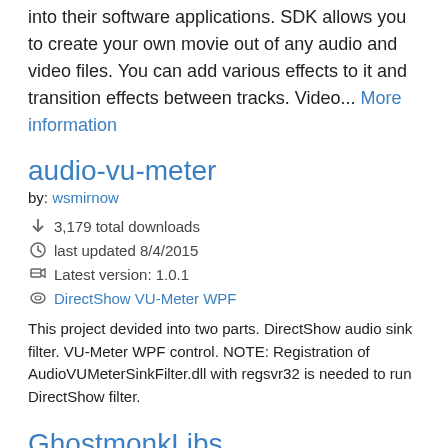into their software applications. SDK allows you to create your own movie out of any audio and video files. You can add various effects to it and transition effects between tracks. Video... More information
audio-vu-meter
by: wsmirnow
3,179 total downloads
last updated 8/4/2015
Latest version: 1.0.1
DirectShow VU-Meter WPF
This project devided into two parts. DirectShow audio sink filter. VU-Meter WPF control. NOTE: Registration of AudioVUMeterSinkFilter.dll with regsvr32 is needed to run DirectShow filter.
GhostmonkLibs.DirectShowWrappers
by: ghostmonk